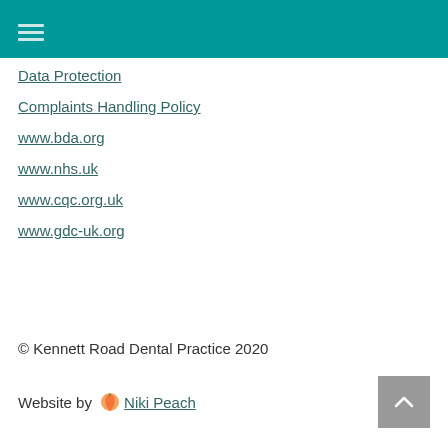Data Protection
Complaints Handling Policy
www.bda.org
www.nhs.uk
www.cqc.org.uk
www.gdc-uk.org
© Kennett Road Dental Practice 2020
Website by 🍑 Niki Peach